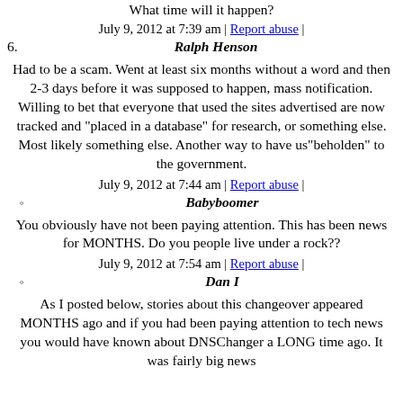What time will it happen?
July 9, 2012 at 7:39 am | Report abuse |
6. Ralph Henson
Had to be a scam. Went at least six months without a word and then 2-3 days before it was supposed to happen, mass notification. Willing to bet that everyone that used the sites advertised are now tracked and "placed in a database" for research, or something else. Most likely something else. Another way to have us"beholden" to the government.
July 9, 2012 at 7:44 am | Report abuse |
Babyboomer
You obviously have not been paying attention. This has been news for MONTHS. Do you people live under a rock??
July 9, 2012 at 7:54 am | Report abuse |
Dan I
As I posted below, stories about this changeover appeared MONTHS ago and if you had been paying attention to tech news you would have known about DNSChanger a LONG time ago. It was fairly big news